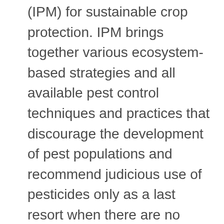(IPM) for sustainable crop protection. IPM brings together various ecosystem-based strategies and all available pest control techniques and practices that discourage the development of pest populations and recommend judicious use of pesticides only as a last resort when there are no adequate non-chemical alternatives and applied appropriately to reduce risks to human health and the environment.
What role does FAO play in pesticide management?
FAO addresses pesticide management in a